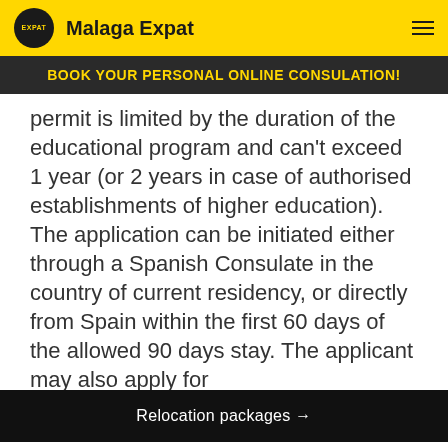Malaga Expat
BOOK YOUR PERSONAL ONLINE CONSULATION!
permit is limited by the duration of the educational program and can't exceed 1 year (or 2 years in case of authorised establishments of higher education). The application can be initiated either through a Spanish Consulate in the country of current residency, or directly from Spain within the first 60 days of the allowed 90 days stay. The applicant may also apply for
Relocation packages →